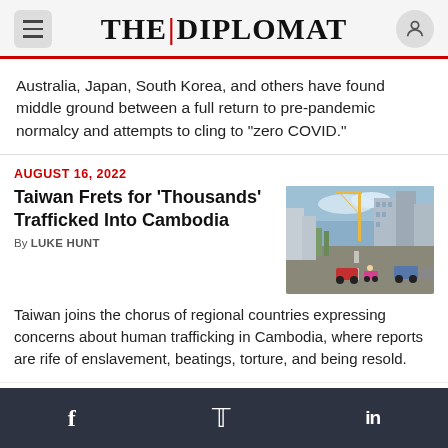THE DIPLOMAT
Australia, Japan, South Korea, and others have found middle ground between a full return to pre-pandemic normalcy and attempts to cling to “zero COVID.”
AUGUST 16, 2022
Taiwan Frets for ‘Thousands’ Trafficked Into Cambodia
By LUKE HUNT
[Figure (photo): Street scene in Cambodia showing buildings, vehicles, and motorcycles under a partly cloudy sky]
Taiwan joins the chorus of regional countries expressing concerns about human trafficking in Cambodia, where reports are rife of enslavement, beatings, torture, and being resold.
f   𝒛   in